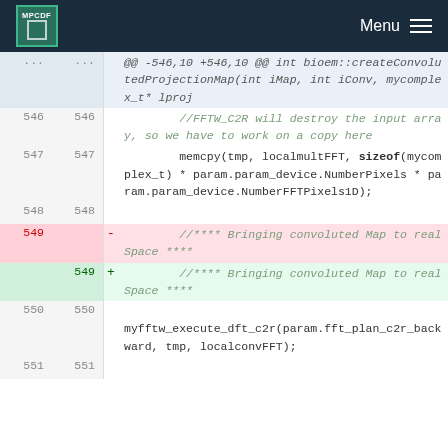MPCDF Menu
@@ -546,10 +546,10 @@ int bioem::createConvolutedProjectionMap(int iMap, int iConv, mycomplex_t* lproj
546 546   //FFTW_C2R will destroy the input array, so we have to work on a copy here
547 547         memcpy(tmp, localmultFFT, sizeof(mycomplex_t) * param.param_device.NumberPixels * param.param_device.NumberFFTPixels1D);
548 548
549   - //**** Bringing convoluted Map to real Space ****
549 + //**** Bringing convoluted Map to real Space ****
550 550  myfftw_execute_dft_c2r(param.fft_plan_c2r_backward, tmp, localconvFFT);
551 551